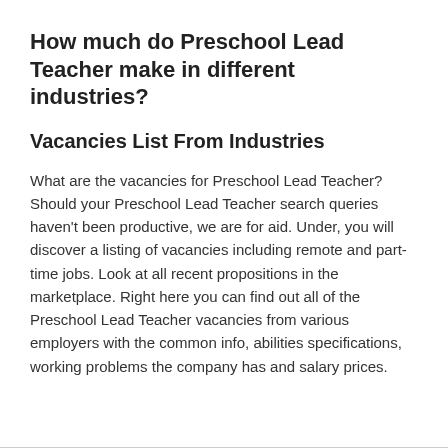How much do Preschool Lead Teacher make in different industries?
Vacancies List From Industries
What are the vacancies for Preschool Lead Teacher? Should your Preschool Lead Teacher search queries haven't been productive, we are for aid. Under, you will discover a listing of vacancies including remote and part-time jobs. Look at all recent propositions in the marketplace. Right here you can find out all of the Preschool Lead Teacher vacancies from various employers with the common info, abilities specifications, working problems the company has and salary prices.